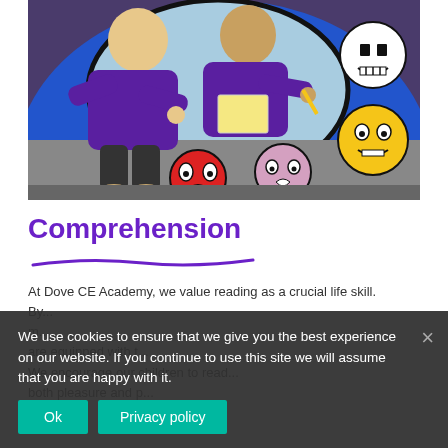[Figure (photo): Two children in purple school uniforms sitting on a colourful round carpet with cartoon face expressions, working on an activity with paper and pencils.]
Comprehension
At Dove CE Academy, we value reading as a crucial life skill. By... My... are equipped with... We encourage our children to read... both pleasure and p...
We use cookies to ensure that we give you the best experience on our website. If you continue to use this site we will assume that you are happy with it.